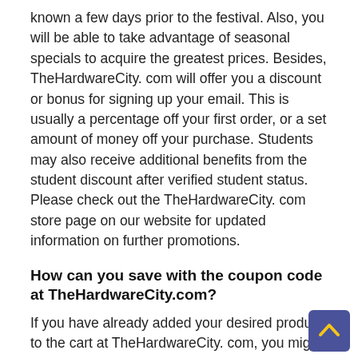known a few days prior to the festival. Also, you will be able to take advantage of seasonal specials to acquire the greatest prices. Besides, TheHardwareCity. com will offer you a discount or bonus for signing up your email. This is usually a percentage off your first order, or a set amount of money off your purchase. Students may also receive additional benefits from the student discount after verified student status. Please check out the TheHardwareCity. com store page on our website for updated information on further promotions.
How can you save with the coupon code at TheHardwareCity.com?
If you have already added your desired product to the cart at TheHardwareCity. com, you might be able to visit our website to view the most recent promo code. You can copy the code and then paste it on the checkout page have the payment amount calculated for you. You can also